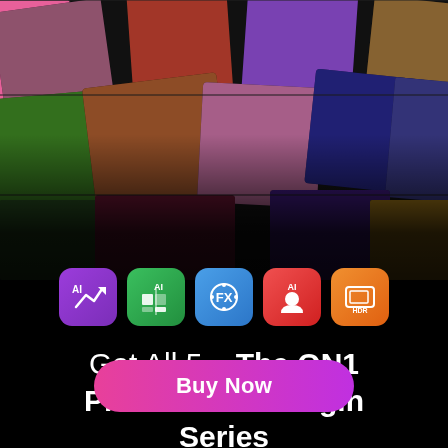[Figure (photo): Collage of vibrant nature and portrait photos arranged in a tilted grid: woman with flowers, red flowers, purple crocus, bird, squirrel, pink lotus flower, sunset lake, lightning storm, green forest, yellow flowers, dark background. Five app icons below: purple AI Enhance, green AI, blue FX effects, red AI portrait, orange HDR.]
Get All 5 – The ON1 Professional Plugin Series
Buy Now